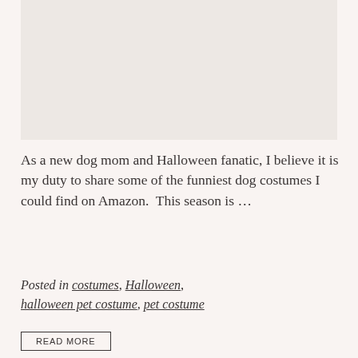[Figure (photo): Placeholder image area with light beige/off-white background, representing a dog costume photo]
As a new dog mom and Halloween fanatic, I believe it is my duty to share some of the funniest dog costumes I could find on Amazon.  This season is …
Posted in costumes, Halloween, halloween pet costume, pet costume
READ MORE